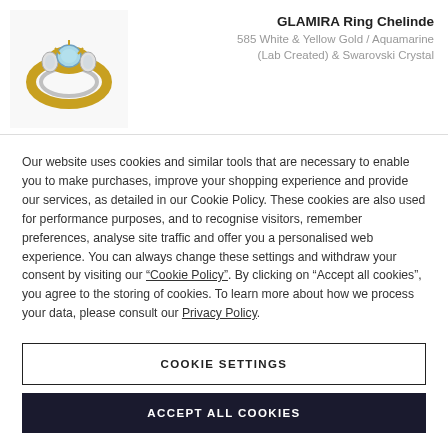[Figure (photo): Product photo of GLAMIRA Ring Chelinde — a gold ring with aquamarine and crystal stones]
GLAMIRA Ring Chelinde
585 White & Yellow Gold / Aquamarine (Lab Created) & Swarovski Crystal
Our website uses cookies and similar tools that are necessary to enable you to make purchases, improve your shopping experience and provide our services, as detailed in our Cookie Policy. These cookies are also used for performance purposes, and to recognise visitors, remember preferences, analyse site traffic and offer you a personalised web experience. You can always change these settings and withdraw your consent by visiting our “Cookie Policy”. By clicking on “Accept all cookies”, you agree to the storing of cookies. To learn more about how we process your data, please consult our Privacy Policy.
COOKIE SETTINGS
ACCEPT ALL COOKIES